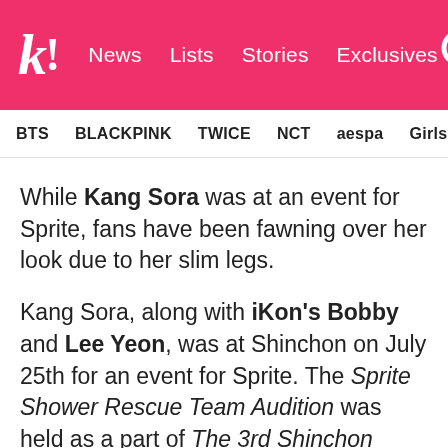k! News Lists Stories Exclusives [search icon]
BTS  BLACKPINK  TWICE  NCT  aespa  Girls' Generation
While Kang Sora was at an event for Sprite, fans have been fawning over her look due to her slim legs.
Kang Sora, along with iKon's Bobby and Lee Yeon, was at Shinchon on July 25th for an event for Sprite. The Sprite Shower Rescue Team Audition was held as a part of The 3rd Shinchon Water Gun Festival. In one photo from the event, the actress can be seen mid-stride with a bottle of Sprite in her hand. This seemingly casual photo has fans yet again raving about her famous body shape that has consistently earned golden praise.